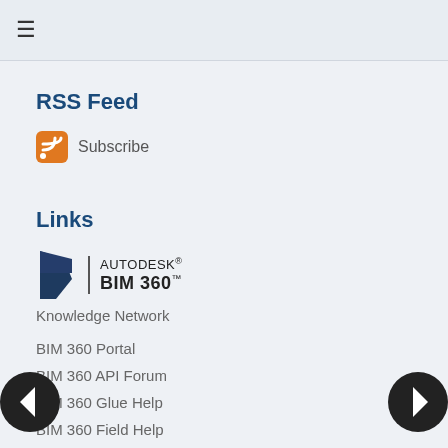☰
RSS Feed
Subscribe
Links
[Figure (logo): Autodesk BIM 360 logo with stylized blue B icon and text AUTODESK BIM 360]
Knowledge Network
BIM 360 Portal
BIM 360 API Forum
BIM 360 Glue Help
BIM 360 Field Help